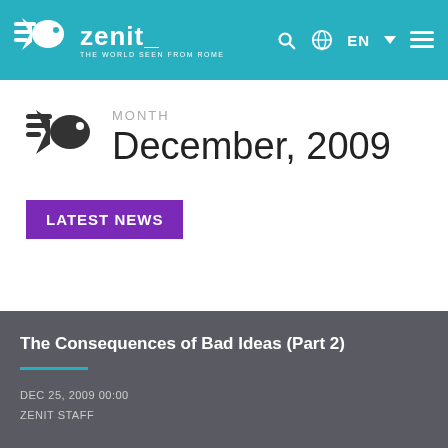zenit_ THE WORLD SEEN FROM ROME
December, 2009
MONTH
LATEST NEWS
The Consequences of Bad Ideas (Part 2)
DEC 25, 2009 00:00
ZENIT STAFF